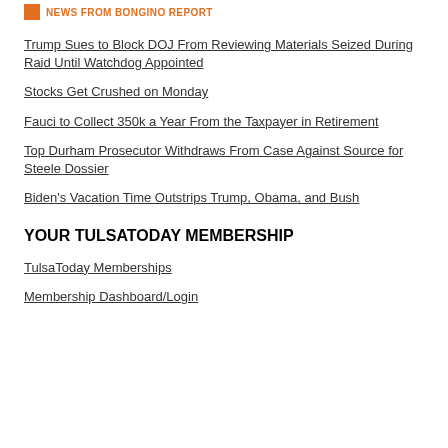NEWS FROM BONGINO REPORT
Trump Sues to Block DOJ From Reviewing Materials Seized During Raid Until Watchdog Appointed
Stocks Get Crushed on Monday
Fauci to Collect 350k a Year From the Taxpayer in Retirement
Top Durham Prosecutor Withdraws From Case Against Source for Steele Dossier
Biden's Vacation Time Outstrips Trump, Obama, and Bush
YOUR TULSATODAY MEMBERSHIP
TulsaToday Memberships
Membership Dashboard/Login